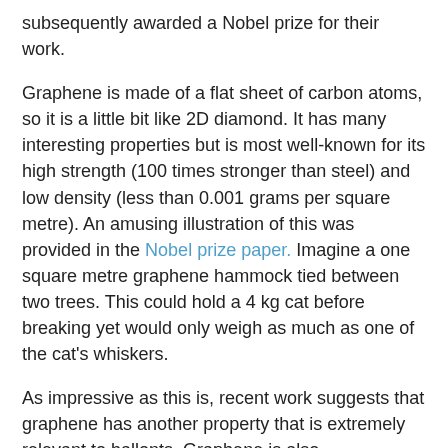subsequently awarded a Nobel prize for their work.
Graphene is made of a flat sheet of carbon atoms, so it is a little bit like 2D diamond. It has many interesting properties but is most well-known for its high strength (100 times stronger than steel) and low density (less than 0.001 grams per square metre). An amusing illustration of this was provided in the Nobel prize paper. Imagine a one square metre graphene hammock tied between two trees. This could hold a 4 kg cat before breaking yet would only weigh as much as one of the cat's whiskers.
As impressive as this is, recent work suggests that graphene has another property that is extremely relevant to ballonts. Graphene is also impermeable to gases. With such an amazingly low density it effectively produces a matte-black massless membrane even when a few thousand layers are used.
It would however be extremely challenging for life to produce a graphene balloon with absolutely no defects. A more robust approach is to copy the bubble foam concept and use a mass of small graphene "bubbles" instead. Conveniently, a